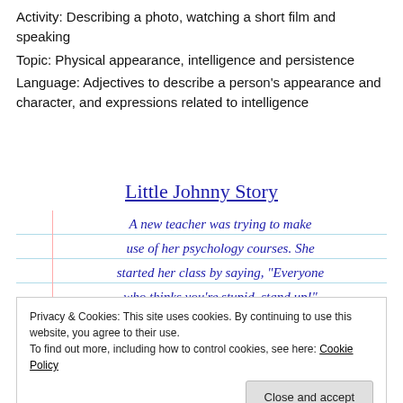Activity: Describing a photo, watching a short film and speaking
Topic: Physical appearance, intelligence and persistence
Language: Adjectives to describe a person's appearance and character, and expressions related to intelligence
Little Johnny Story
A new teacher was trying to make use of her psychology courses. She started her class by saying, "Everyone who thinks you're stupid, stand up!"
Privacy & Cookies: This site uses cookies. By continuing to use this website, you agree to their use.
To find out more, including how to control cookies, see here: Cookie Policy